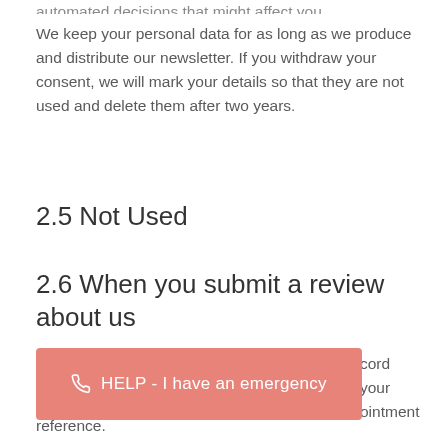automated decisions that might affect you.
We keep your personal data for as long as we produce and distribute our newsletter. If you withdraw your consent, we will mark your details so that they are not used and delete them after two years.
2.5 Not Used
2.6 When you submit a review about us
cord your appointment reference.
[Figure (other): Pink/salmon colored button with phone icon and text: HELP - I have an emergency]